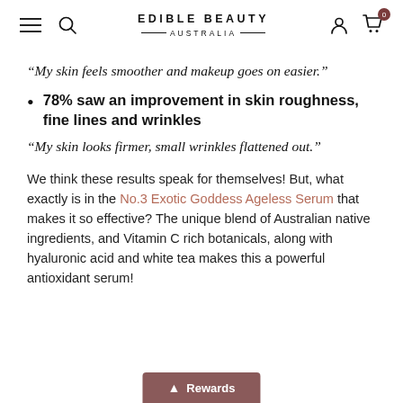EDIBLE BEAUTY AUSTRALIA
“My skin feels smoother and makeup goes on easier.”
78% saw an improvement in skin roughness, fine lines and wrinkles
“My skin looks firmer, small wrinkles flattened out.”
We think these results speak for themselves! But, what exactly is in the No.3 Exotic Goddess Ageless Serum that makes it so effective? The unique blend of Australian native ingredients, and Vitamin C rich botanicals, along with hyaluronic acid and white tea makes this a powerful antioxidant serum!